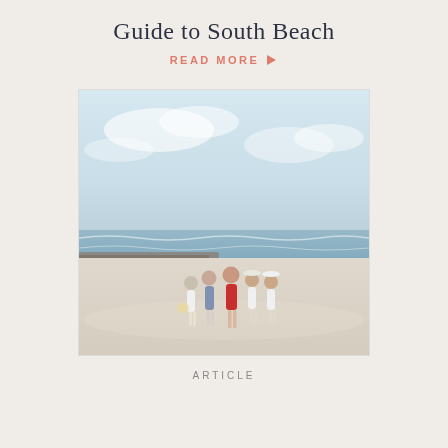Guide to South Beach
READ MORE ▶
[Figure (photo): Five women walking together on a wide sandy beach near the ocean. One woman wears red, another blue/white plaid, others wear white. The scene is bright and sunny with waves visible in the background.]
ARTICLE